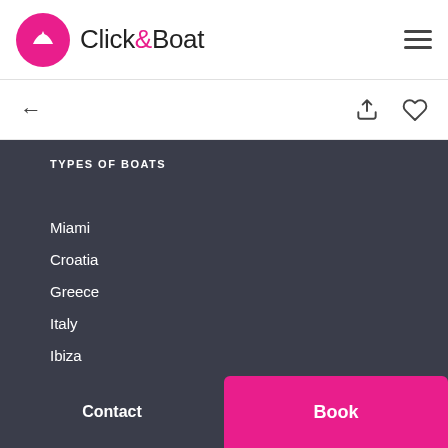Click&Boat
TYPES OF BOATS
Miami
Croatia
Greece
Italy
Ibiza
France
British Virgin Islands
Sailboat Rental
Motorboat Rental
Contact
Book